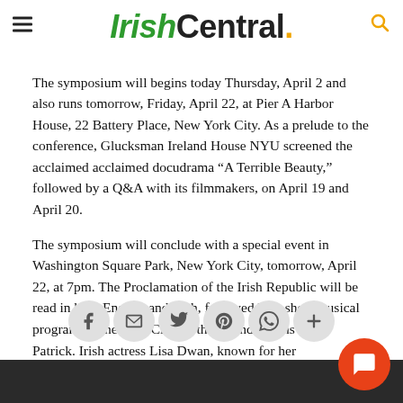IrishCentral.
The symposium will begins today Thursday, April 2 and also runs tomorrow, Friday, April 22, at Pier A Harbor House, 22 Battery Place, New York City. As a prelude to the conference, Glucksman Ireland House NYU screened the acclaimed acclaimed docudrama “A Terrible Beauty,” followed by a Q&A with its filmmakers, on April 19 and April 20.
The symposium will conclude with a special event in Washington Square Park, New York City, tomorrow, April 22, at 7pm. The Proclamation of the Irish Republic will be read in both English and Irish, followed by a short musical program by the Glee Club of the Friendly Sons of St. Patrick. Irish actress Lisa Dwan, known for her performances of Samuel Beckett’s work, will read the Proclamation in English; she can currently be seen in Beckett’s Not I, Footfalls and Rockaby at NYU’s Skirball Center for the Performing